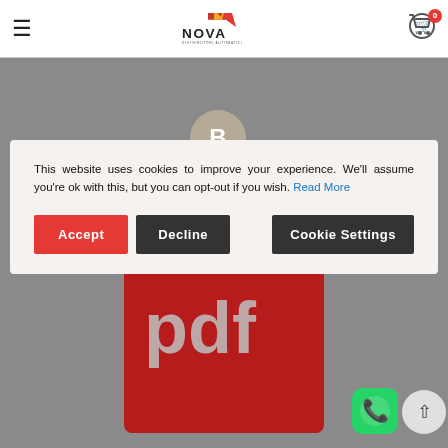[Figure (logo): Nova Distributori Automatici logo with red/yellow wing graphic and text]
[Figure (screenshot): Cookie consent modal overlay on a gray website background showing a PDF file icon. Modal contains cookie notice text with Read More link, and three buttons: Accept (red), Decline (dark), Cookie Settings (dark). WhatsApp chat button and scroll-to-top button visible in bottom-right corner.]
This website uses cookies to improve your experience. We'll assume you're ok with this, but you can opt-out if you wish. Read More
Accept
Decline
Cookie Settings